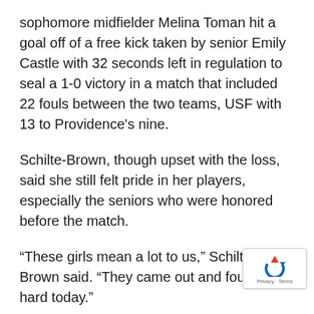sophomore midfielder Melina Toman hit a goal off of a free kick taken by senior Emily Castle with 32 seconds left in regulation to seal a 1-0 victory in a match that included 22 fouls between the two teams, USF with 13 to Providence's nine.
Schilte-Brown, though upset with the loss, said she still felt pride in her players, especially the seniors who were honored before the match.
“These girls mean a lot to us,” Schilte-Brown said. “They came out and fought hard today.”
Through horrid weather and an abundance of overtime play, the Bulls’ season at home included both its ups and downs. However, the Bulls hope to finish their season strong in the Big East, heading out on the road for three straight matches.